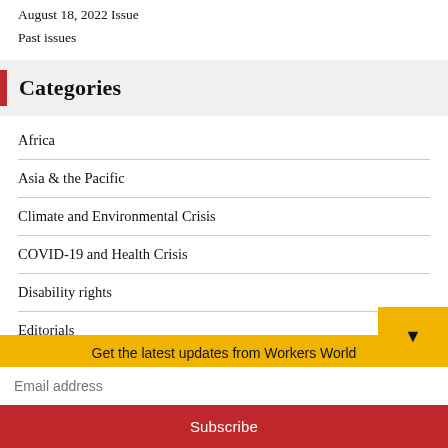August 18, 2022 Issue
Past issues
Categories
Africa
Asia & the Pacific
Climate and Environmental Crisis
COVID-19 and Health Crisis
Disability rights
Editorials
Europe
Global
Get the latest updates from Workers World
Email address
Subscribe